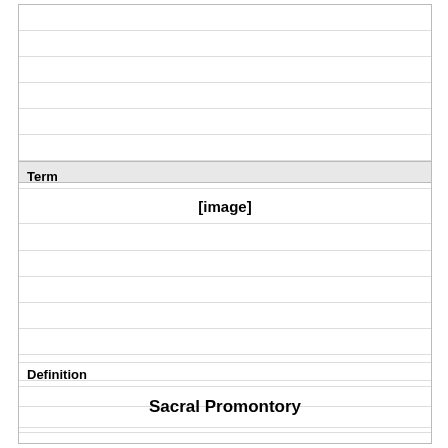Term
[Figure (other): [image]]
Definition
Sacral Promontory